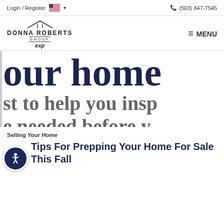Login / Register   🇺🇸 ▾       📞 (503) 847-7545
[Figure (logo): Donna Roberts Group eXp Realty logo with roof/house graphic above the brand name]
≡ MENU
our home
st to help you insp
e needed before y
Selling Your Home
Tips For Prepping Your Home For Sale This Fall